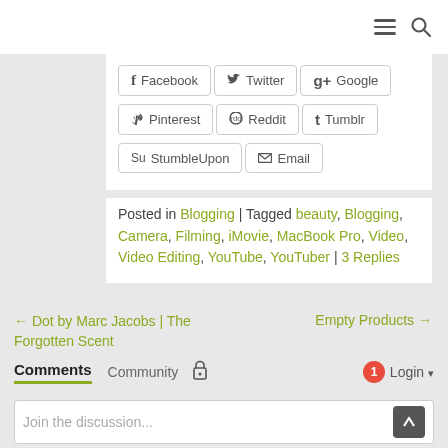[Figure (screenshot): Top navigation bar with hamburger menu and search icon]
[Figure (screenshot): Social share buttons: Facebook, Twitter, Google+, Pinterest, Reddit, Tumblr, StumbleUpon, Email]
Posted in Blogging | Tagged beauty, Blogging, Camera, Filming, iMovie, MacBook Pro, Video, Video Editing, YouTube, YouTuber | 3 Replies
← Dot by Marc Jacobs | The Forgotten Scent
Empty Products →
Comments
Community
Login
Favorite
Sort by Oldest
Join the discussion...